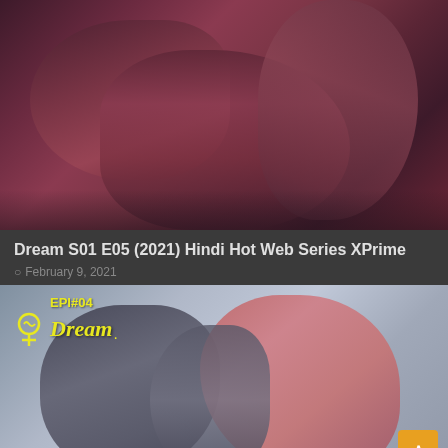[Figure (photo): Screenshot of a streaming website showing adult web series content. Top image shows two people in an intimate scene on a bed with pink/purple toned background.]
Dream S01 E05 (2021) Hindi Hot Web Series XPrime
February 9, 2021
[Figure (photo): Thumbnail for Dream EPI#04 web series episode showing a person in a patterned dress. Yellow 'Dream EPI#04' watermark logo visible in top left. Orange scroll-to-top button in bottom right corner.]